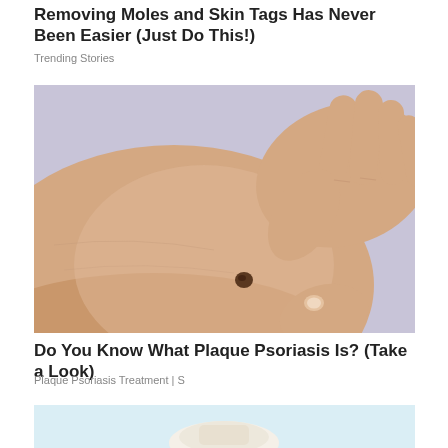Removing Moles and Skin Tags Has Never Been Easier (Just Do This!)
Trending Stories
[Figure (photo): Close-up photo of a person's back/shoulder with a mole, and hands touching the area near it, against a light purple background]
Do You Know What Plaque Psoriasis Is? (Take a Look)
Plaque Psoriasis Treatment | S
[Figure (photo): Partial view of a second article image, showing a light blue/white background with a cream or lotion product at the bottom]